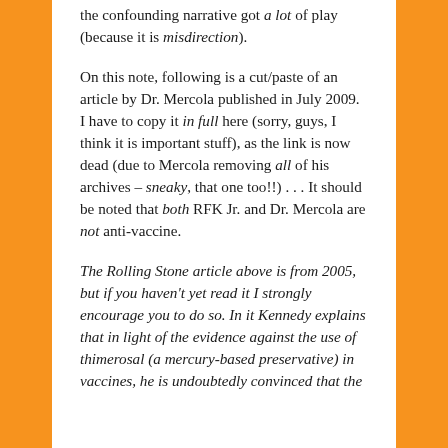the confounding narrative got a lot of play (because it is misdirection).
On this note, following is a cut/paste of an article by Dr. Mercola published in July 2009. I have to copy it in full here (sorry, guys, I think it is important stuff), as the link is now dead (due to Mercola removing all of his archives – sneaky, that one too!!) . . . It should be noted that both RFK Jr. and Dr. Mercola are not anti-vaccine.
The Rolling Stone article above is from 2005, but if you haven't yet read it I strongly encourage you to do so. In it Kennedy explains that in light of the evidence against the use of thimerosal (a mercury-based preservative) in vaccines, he is undoubtedly convinced that the